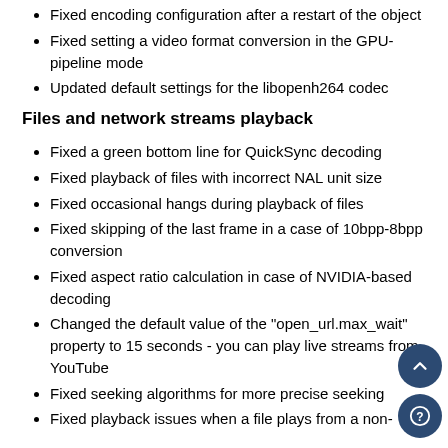Fixed encoding configuration after a restart of the object
Fixed setting a video format conversion in the GPU-pipeline mode
Updated default settings for the libopenh264 codec
Files and network streams playback
Fixed a green bottom line for QuickSync decoding
Fixed playback of files with incorrect NAL unit size
Fixed occasional hangs during playback of files
Fixed skipping of the last frame in a case of 10bpp-8bpp conversion
Fixed aspect ratio calculation in case of NVIDIA-based decoding
Changed the default value of the "open_url.max_wait" property to 15 seconds - you can play live streams from YouTube
Fixed seeking algorithms for more precise seeking
Fixed playback issues when a file plays from a non-